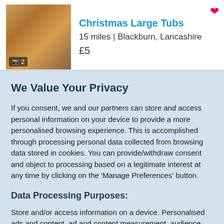[Figure (screenshot): Thumbnail image of a listing with a floral/colourful garment, showing a photo count badge of 2]
Christmas Large Tubs
15 miles | Blackburn, Lancashire
We Value Your Privacy
If you consent, we and our partners can store and access personal information on your device to provide a more personalised browsing experience. This is accomplished through processing personal data collected from browsing data stored in cookies. You can provide/withdraw consent and object to processing based on a legitimate interest at any time by clicking on the 'Manage Preferences' button.
Data Processing Purposes:
Store and/or access information on a device. Personalised ads and content, ad and content measurement, audience insights and product development.
List of Partners (vendors)
Accept
Manage your privacy settings